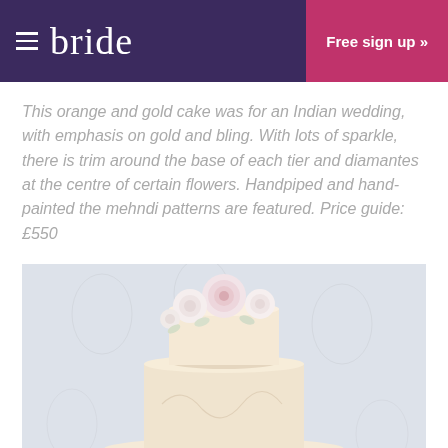bride   Free sign up »
This orange and gold cake was for an Indian wedding, with emphasis on gold and bling. With lots of sparkle, there is trim around the base of each tier and diamantes at the centre of certain flowers. Handpiped and hand-painted the mehndi patterns are featured. Price guide: £550
[Figure (photo): A multi-tiered white wedding cake topped with white and pink sugar roses, set against a pale blue-grey damask patterned background.]